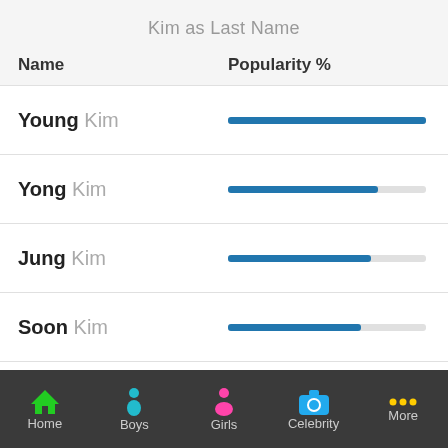Kim as Last Name
[Figure (bar-chart): Kim as Last Name]
Home   Boys   Girls   Celebrity   More